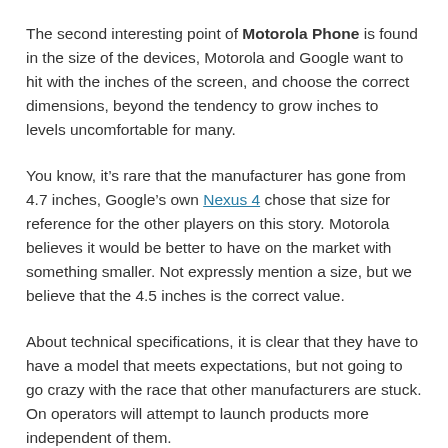The second interesting point of Motorola Phone is found in the size of the devices, Motorola and Google want to hit with the inches of the screen, and choose the correct dimensions, beyond the tendency to grow inches to levels uncomfortable for many.
You know, it's rare that the manufacturer has gone from 4.7 inches, Google's own Nexus 4 chose that size for reference for the other players on this story. Motorola believes it would be better to have on the market with something smaller. Not expressly mention a size, but we believe that the 4.5 inches is the correct value.
About technical specifications, it is clear that they have to have a model that meets expectations, but not going to go crazy with the race that other manufacturers are stuck. On operators will attempt to launch products more independent of them.